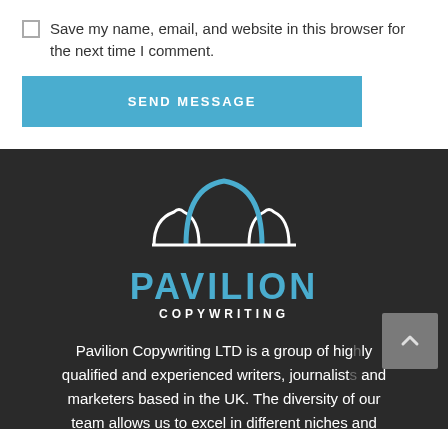Save my name, email, and website in this browser for the next time I comment.
SEND MESSAGE
[Figure (logo): Pavilion Copywriting logo with blue pavilion/onion dome shape above the text PAVILION COPYWRITING in blue and white on dark background]
Pavilion Copywriting LTD is a group of highly qualified and experienced writers, journalists and marketers based in the UK. The diversity of our team allows us to excel in different niches and when completing any type of copy.